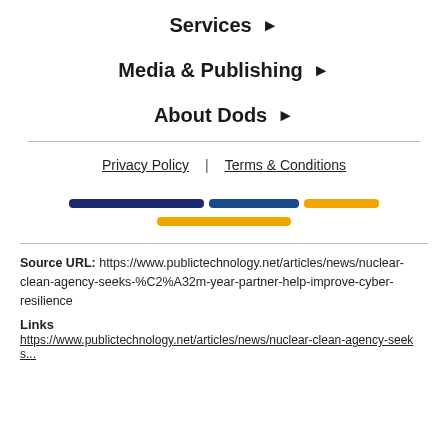Services ▶
Media & Publishing ▶
About Dods ▶
Privacy Policy | Terms & Conditions
[Figure (illustration): Two-row logo graphic with dark navy and gold/yellow horizontal bars representing a logo design]
Source URL: https://www.publictechnology.net/articles/news/nuclear-clean-agency-seeks-%C2%A32m-year-partner-help-improve-cyber-resilience
Links